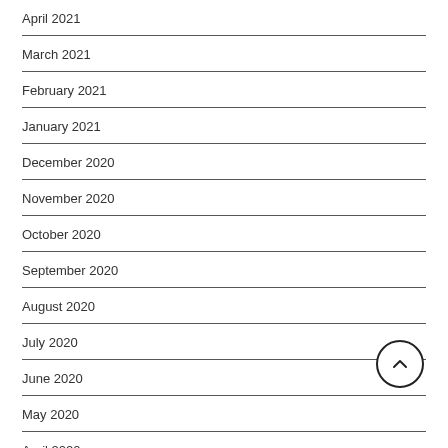April 2021
March 2021
February 2021
January 2021
December 2020
November 2020
October 2020
September 2020
August 2020
July 2020
June 2020
May 2020
April 2020
March 2020
July 2018
February 2018